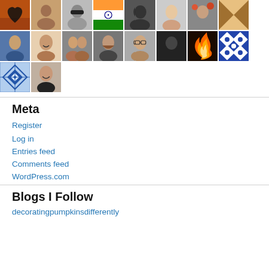[Figure (photo): Grid of user avatar/profile photos arranged in rows. Row 1: heart silhouette, person, person with sunglasses, Indian flag, person's face in profile, woman's face, woman with flowers, geometric pattern. Row 2: young man, smiling woman, two women, man with beard, woman with glasses, dark figure, fire image, blue geometric pattern. Row 3: blue geometric pattern, woman smiling.]
Meta
Register
Log in
Entries feed
Comments feed
WordPress.com
Blogs I Follow
decoratingpumpkinsdifferently